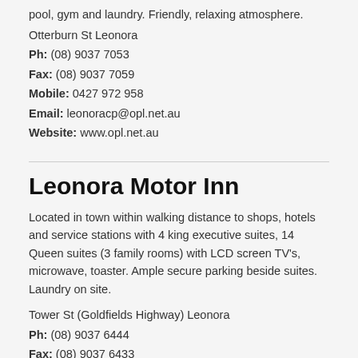pool, gym and laundry. Friendly, relaxing atmosphere.
Otterburn St Leonora
Ph: (08) 9037 7053
Fax: (08) 9037 7059
Mobile: 0427 972 958
Email: leonoracp@opl.net.au
Website: www.opl.net.au
Leonora Motor Inn
Located in town within walking distance to shops, hotels and service stations with 4 king executive suites, 14 Queen suites (3 family rooms) with LCD screen TV’s, microwave, toaster. Ample secure parking beside suites. Laundry on site.
Tower St (Goldfields Highway) Leonora
Ph: (08) 9037 6444
Fax: (08) 9037 6433
Email: reception@leonoramotorinn.com.au